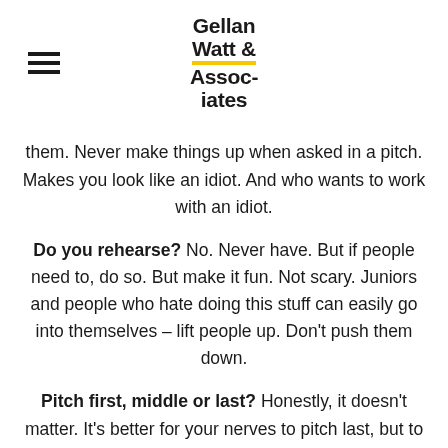Gellan Watt & Associates
them. Never make things up when asked in a pitch. Makes you look like an idiot. And who wants to work with an idiot.
Do you rehearse? No. Never have. But if people need to, do so. But make it fun. Not scary. Juniors and people who hate doing this stuff can easily go into themselves – lift people up. Don't push them down.
Pitch first, middle or last? Honestly, it doesn't matter. It's better for your nerves to pitch last, but to the client, the best pitch will win out. First or